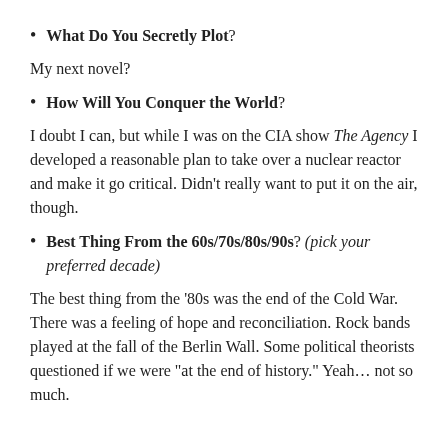What Do You Secretly Plot?
My next novel?
How Will You Conquer the World?
I doubt I can, but while I was on the CIA show The Agency I developed a reasonable plan to take over a nuclear reactor and make it go critical. Didn’t really want to put it on the air, though.
Best Thing From the 60s/70s/80s/90s? (pick your preferred decade)
The best thing from the ‘80s was the end of the Cold War. There was a feeling of hope and reconciliation. Rock bands played at the fall of the Berlin Wall. Some political theorists questioned if we were “at the end of history.” Yeah… not so much.